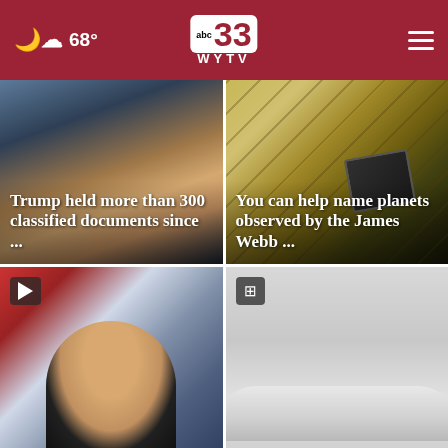abc33 WYTV — 68°
[Figure (photo): Donald Trump pointing, with news headline overlay: Trump held more than 300 classified documents since ...]
[Figure (photo): James Webb Space Telescope structure, with news headline overlay: You can help name planets observed by the James Webb ...]
[Figure (photo): Police officer portrait with video play badge]
[Figure (photo): Snow-covered car scene with gallery badge]